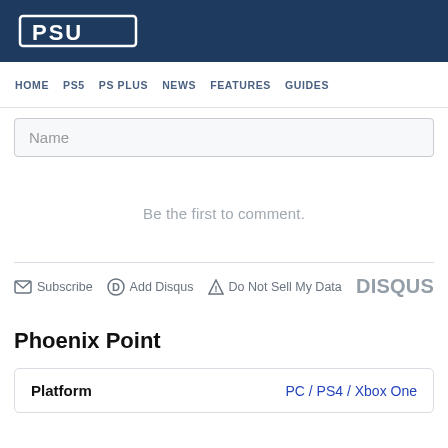PSU
HOME  PS5  PS PLUS  NEWS  FEATURES  GUIDES
Name
Be the first to comment.
Subscribe  Add Disqus  Do Not Sell My Data  DISQUS
Phoenix Point
| Platform |  |
| --- | --- |
| Platform | PC / PS4 / Xbox One |